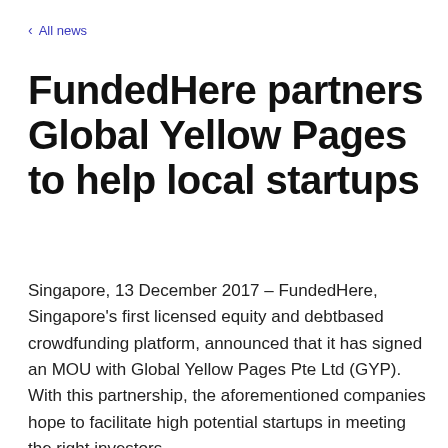All news
FundedHere partners Global Yellow Pages to help local startups
Singapore, 13 December 2017 – FundedHere, Singapore's first licensed equity and debtbased crowdfunding platform, announced that it has signed an MOU with Global Yellow Pages Pte Ltd (GYP). With this partnership, the aforementioned companies hope to facilitate high potential startups in meeting the right investors.